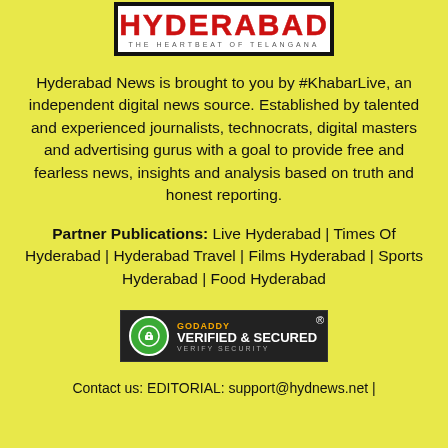[Figure (logo): HYDERABAD - THE HEARTBEAT OF TELANGANA logo in black border box with red title text]
Hyderabad News is brought to you by #KhabarLive, an independent digital news source. Established by talented and experienced journalists, technocrats, digital masters and advertising gurus with a goal to provide free and fearless news, insights and analysis based on truth and honest reporting.
Partner Publications: Live Hyderabad | Times Of Hyderabad | Hyderabad Travel | Films Hyderabad | Sports Hyderabad | Food Hyderabad
[Figure (logo): GoDaddy Verified & Secured seal badge]
Contact us: EDITORIAL: support@hydnews.net |